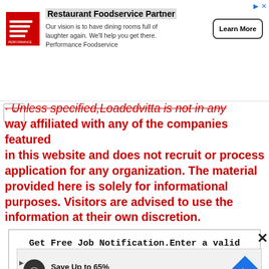[Figure (screenshot): Advertisement banner for Restaurant Foodservice Partner / Performance Foodservice with logo, text, and Learn More button]
Unless specified,Loadedvitta is not in any way affiliated with any of the companies featured in this website and does not recruit or process application for any organization. The material provided here is solely for informational purposes. Visitors are advised to use the information at their own discretion.
Get Free Job Notification.Enter a valid email address:
[Figure (screenshot): Advertisement: Save Up to 65% Leesburg Premium Outlets with logo and direction icon]